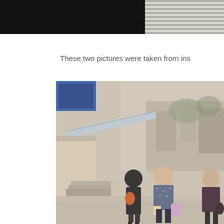[Figure (photo): Two photos at the top of the page: a dark interior/exterior shot on the left and a building with horizontal blinds or louvers on the right. Both partially cropped.]
These two pictures were taken from ins
[Figure (photo): Street scene in what appears to be an Asian urban village or informal settlement. Three women walk along a narrow street lined with old wooden and brick buildings with corrugated metal awnings. The woman in the center carries shopping bags.]